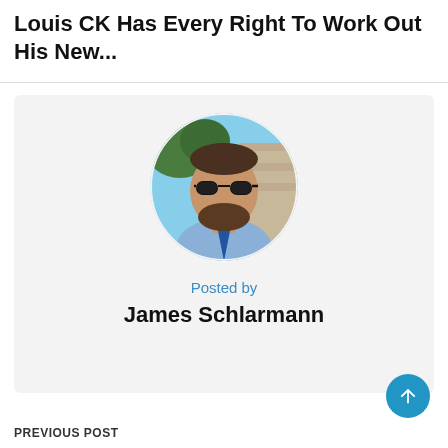Louis CK Has Every Right To Work Out His New...
[Figure (photo): Circular profile photo of a man with sunglasses and a beard, wearing a light blue dress shirt and blue tie, outdoors with trees and a stone wall visible in the background.]
Posted by
James Schlarmann
PREVIOUS POST